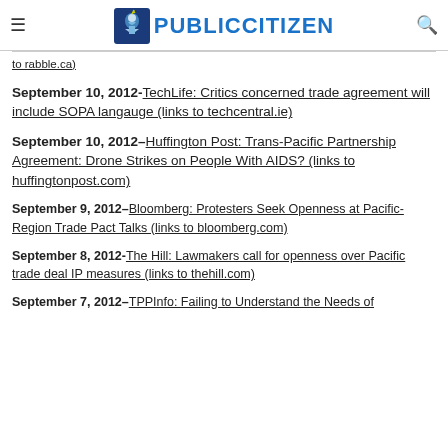PUBLIC CITIZEN
to rabble.ca)
September 10, 2012- TechLife: Critics concerned trade agreement will include SOPA langauge (links to techcentral.ie)
September 10, 2012– Huffington Post: Trans-Pacific Partnership Agreement: Drone Strikes on People With AIDS? (links to huffingtonpost.com)
September 9, 2012– Bloomberg: Protesters Seek Openness at Pacific-Region Trade Pact Talks (links to bloomberg.com)
September 8, 2012- The Hill: Lawmakers call for openness over Pacific trade deal IP measures (links to thehill.com)
September 7, 2012– TPPInfo: Failing to Understand the Needs of